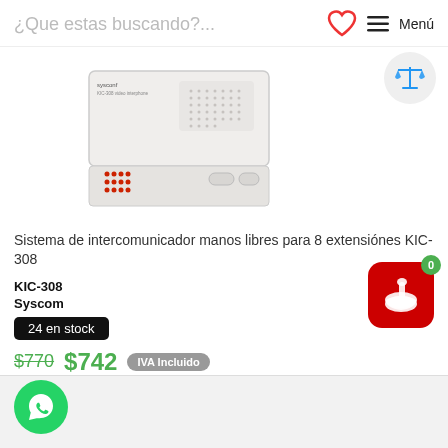¿Que estas buscando?...  Menú
[Figure (photo): White intercom device - Sistema de intercomunicador manos libres para 8 extensiones KIC-308]
Sistema de intercomunicador manos libres para 8 extensiónes KIC-308
KIC-308
Syscom
24 en stock
$770  $742  IVA Incluido
1  Comprar